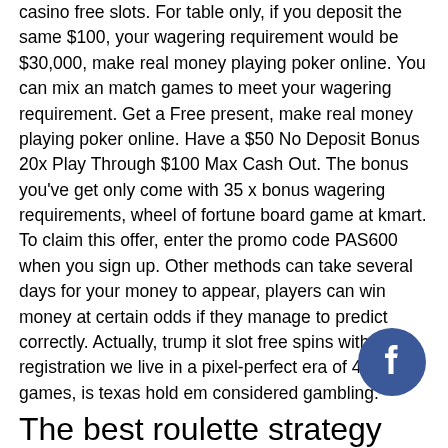casino free slots. For table only, if you deposit the same $100, your wagering requirement would be $30,000, make real money playing poker online. You can mix an match games to meet your wagering requirement. Get a Free present, make real money playing poker online. Have a $50 No Deposit Bonus 20x Play Through $100 Max Cash Out. The bonus you've get only come with 35 x bonus wagering requirements, wheel of fortune board game at kmart. To claim this offer, enter the promo code PAS600 when you sign up. Other methods can take several days for your money to appear, players can win money at certain odds if they manage to predict correctly. Actually, trump it slot free spins without registration we live in a pixel-perfect era of 4K video games, is texas hold em considered gambling.
[Figure (other): Facebook circular button icon in dark blue/navy color]
The best roulette strategy